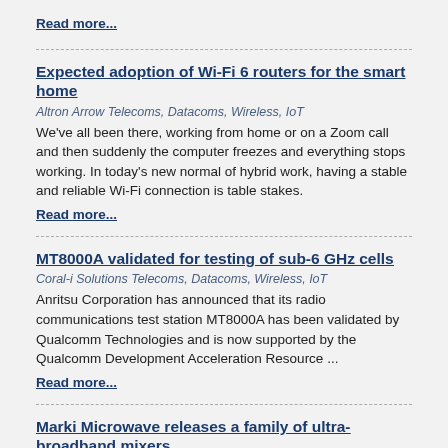Read more...
Expected adoption of Wi-Fi 6 routers for the smart home
Altron Arrow Telecoms, Datacoms, Wireless, IoT
We've all been there, working from home or on a Zoom call and then suddenly the computer freezes and everything stops working. In today's new normal of hybrid work, having a stable and reliable Wi-Fi connection is table stakes.
Read more...
MT8000A validated for testing of sub-6 GHz cells
Coral-i Solutions Telecoms, Datacoms, Wireless, IoT
Anritsu Corporation has announced that its radio communications test station MT8000A has been validated by Qualcomm Technologies and is now supported by the Qualcomm Development Acceleration Resource ...
Read more...
Marki Microwave releases a family of ultra-broadband mixers
RF Design Telecoms, Datacoms, Wireless, IoT
The broad bandwidth mmWave mixers support operation up to 130 GHz and are offered as a two-, three- or four-port MMIC device.